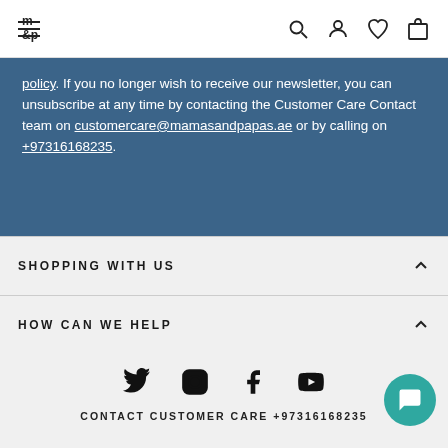Mamas & Papas navigation header
policy. If you no longer wish to receive our newsletter, you can unsubscribe at any time by contacting the Customer Care Contact team on customercare@mamasandpapas.ae or by calling on +97316168235.
SHOPPING WITH US
HOW CAN WE HELP
TOP CATEGORIES
WEBSITES
CONTACT CUSTOMER CARE +97316168235